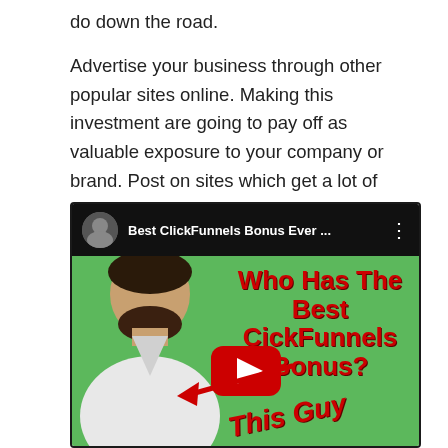do down the road.
Advertise your business through other popular sites online. Making this investment are going to pay off as valuable exposure to your company or brand. Post on sites which get a lot of traffic for the best results.
[Figure (screenshot): YouTube video thumbnail showing a man in a white robe on a green screen background with red bold text reading 'Who Has The Best CickFunnels Bonus?' and a YouTube play button. Top bar shows 'Best ClickFunnels Bonus Ever ...' title with avatar and menu icon. A red arrow points to the man with text 'This Guy'.]